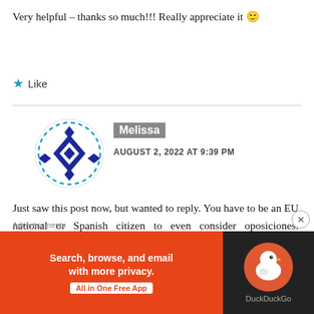Very helpful – thanks so much!!! Really appreciate it 🙂
★ Like
Melissa
AUGUST 2, 2022 AT 9:39 PM
Just saw this post now, but wanted to reply. You have to be an EU national or Spanish citizen to even consider oposiciones. Additionally, you need C1 level in Spanish and Catalan, in the case that you are in Barcelona.
Advertisements
[Figure (screenshot): DuckDuckGo advertisement banner: orange left panel with text 'Search, browse, and email with more privacy. All in One Free App' and dark right panel with DuckDuckGo logo.]